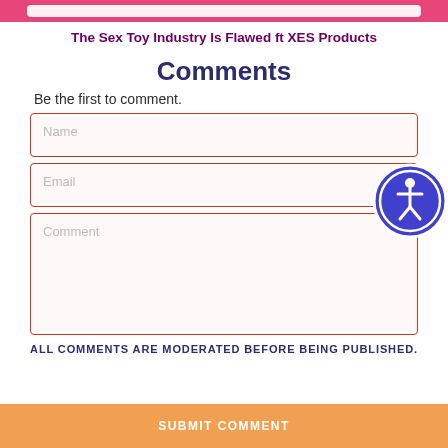The Sex Toy Industry Is Flawed ft XES Products
Comments
Be the first to comment.
ALL COMMENTS ARE MODERATED BEFORE BEING PUBLISHED.
SUBMIT COMMENT